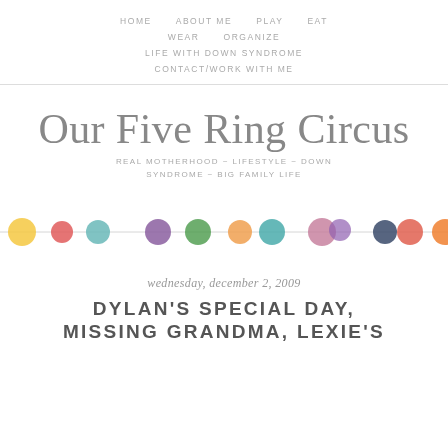HOME   ABOUT ME   PLAY   EAT   WEAR   ORGANIZE   LIFE WITH DOWN SYNDROME   CONTACT/WORK WITH ME
Our Five Ring Circus
REAL MOTHERHOOD ~ LIFESTYLE ~ DOWN SYNDROME ~ BIG FAMILY LIFE
[Figure (illustration): A decorative horizontal strip of colorful watercolor circles/dots in various colors including yellow, red, teal, purple, green, orange, teal, pink/purple, dark/orange, coral, and orange-red arranged in a line.]
wednesday, december 2, 2009
DYLAN'S SPECIAL DAY, MISSING GRANDMA, LEXIE'S